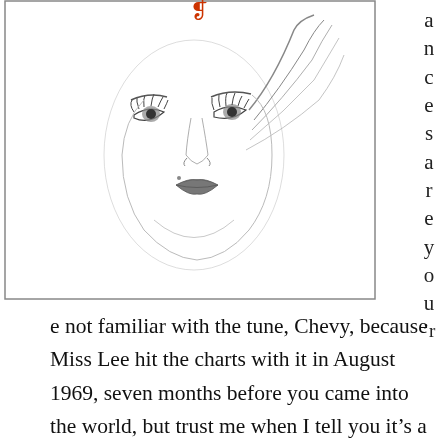[Figure (illustration): Pencil sketch illustration of a woman's face with large expressive eyes, full lips, and hair swept to one side. A small red decorative mark appears at the top of the image. The illustration is enclosed in a rectangular border.]
ances are you'r
e not familiar with the tune, Chevy, because Miss Lee hit the charts with it in August 1969, seven months before you came into the world, but trust me when I tell you it's a classic. So